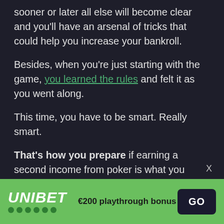sooner or later all else will become clear and you'll have an arsenal of tricks that could help you increase your bankroll.
Besides, when you're just starting with the game, you learned the rules and felt it as you went along.
This time, you have to be smart. Really smart.
That's how you prepare if earning a second income from poker is what you want.
I will leave you with an inspirational video from Doyle Brunson and after you can start playing some real poker.
[Figure (infographic): Unibet banner advertisement with green background showing UNIBET logo with dots, €200 playthrough bonus text, and GO button]